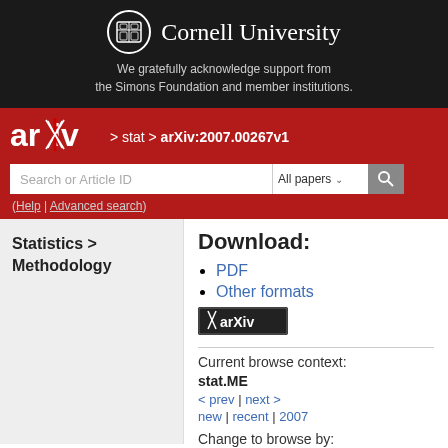[Figure (logo): Cornell University logo with shield and text 'Cornell University' on dark background]
We gratefully acknowledge support from the Simons Foundation and member institutions.
[Figure (logo): arXiv logo in white on red background]
> stat > arXiv:2007.00267v1
Search or Article ID
(Help | Advanced search)
Statistics > Methodology
Download:
PDF
Other formats
[Figure (logo): arXiv badge logo]
Current browse context:
stat.ME
< prev  |  next >
new | recent | 2007
Change to browse by:
math